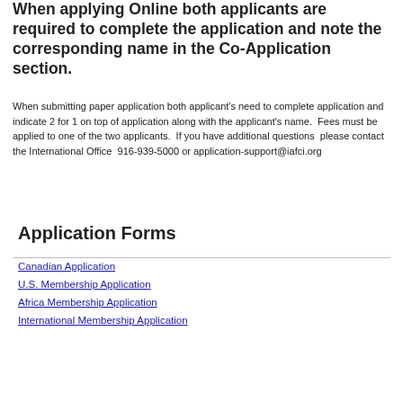When applying Online both applicants are required to complete the application and note the corresponding name in the Co-Application section.
When submitting paper application both applicant's need to complete application and indicate 2 for 1 on top of application along with the applicant's name. Fees must be applied to one of the two applicants. If you have additional questions please contact the International Office 916-939-5000 or application-support@iafci.org
Application Forms
Canadian Application
U.S. Membership Application
Africa Membership Application
International Membership Application